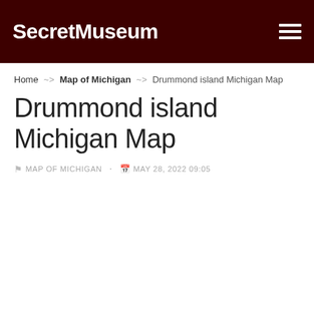SecretMuseum
Home ~> Map of Michigan ~> Drummond island Michigan Map
Drummond island Michigan Map
MAP OF MICHIGAN · MAY 28, 2022 09:05